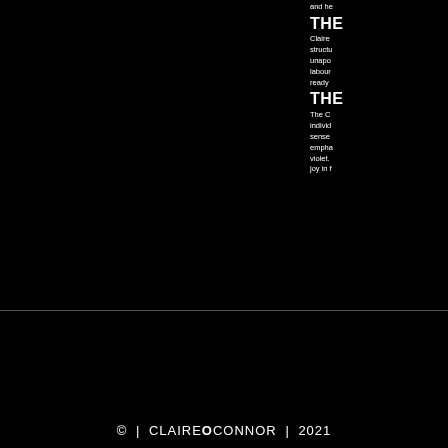and he
THE
Claire structu unapo labour ready
THE
The C individ sense empha violet. joy in f
[Figure (logo): Social media icons: Facebook (f), Twitter (t), LinkedIn (in) — each in a white-bordered square on black background]
© | CLAIREOCONNOR | 2021